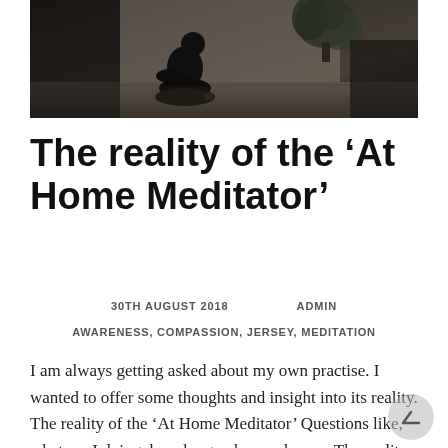[Figure (photo): Dark-toned photograph of a person sitting in a meditation pose silhouetted against a light background, with a large plant visible in the background]
The reality of the ‘At Home Meditator’
30TH AUGUST 2018   ADMIN
AWARENESS, COMPASSION, JERSEY, MEDITATION
I am always getting asked about my own practise. I wanted to offer some thoughts and insight into its reality. The reality of the ‘At Home Meditator’ Questions like, what am I doing, how long, where, when…. The reality of being a father is that I live